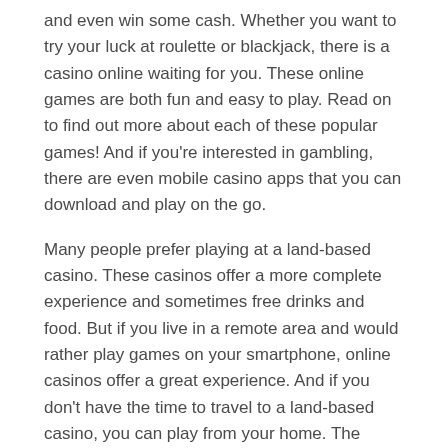and even win some cash. Whether you want to try your luck at roulette or blackjack, there is a casino online waiting for you. These online games are both fun and easy to play. Read on to find out more about each of these popular games! And if you're interested in gambling, there are even mobile casino apps that you can download and play on the go.
Many people prefer playing at a land-based casino. These casinos offer a more complete experience and sometimes free drinks and food. But if you live in a remote area and would rather play games on your smartphone, online casinos offer a great experience. And if you don't have the time to travel to a land-based casino, you can play from your home. The mobile casino apps let you play your favorite games from anywhere, anytime. You can even play from your phone, iPad, or laptop.
SBOBET Review
Top 10 Places to Play Online Slots